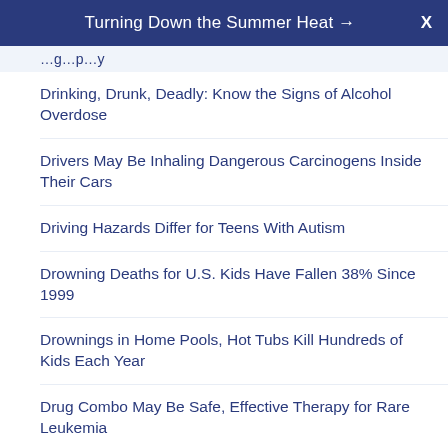Turning Down the Summer Heat →  X
(truncated/partial text from previous item)
Drinking, Drunk, Deadly: Know the Signs of Alcohol Overdose
Drivers May Be Inhaling Dangerous Carcinogens Inside Their Cars
Driving Hazards Differ for Teens With Autism
Drowning Deaths for U.S. Kids Have Fallen 38% Since 1999
Drownings in Home Pools, Hot Tubs Kill Hundreds of Kids Each Year
Drug Combo May Be Safe, Effective Therapy for Rare Leukemia
Drug Long Used for Alcoholism Might Fight Severe COVID-19
Drug May Boost Thinking Skills in People With Advanced